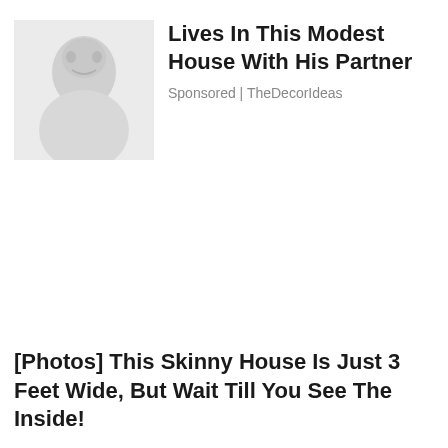[Figure (photo): Grayscale thumbnail photo of a person, partially visible, used as advertisement image]
Lives In This Modest House With His Partner
Sponsored | TheDecorIdeas
[Photos] This Skinny House Is Just 3 Feet Wide, But Wait Till You See The Inside!